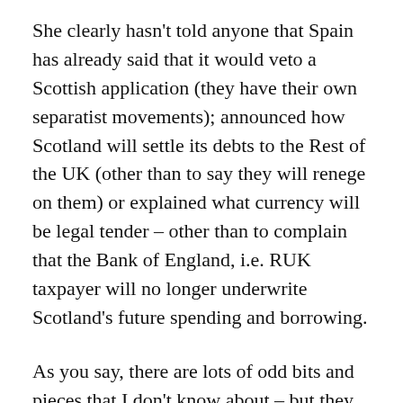She clearly hasn't told anyone that Spain has already said that it would veto a Scottish application (they have their own separatist movements); announced how Scotland will settle its debts to the Rest of the UK (other than to say they will renege on them) or explained what currency will be legal tender – other than to complain that the Bank of England, i.e. RUK taxpayer will no longer underwrite Scotland's future spending and borrowing.
As you say, there are lots of odd bits and pieces that I don't know about – but they all need dealing with on the basis that an Independent Scotland must pay its own way and stand on its